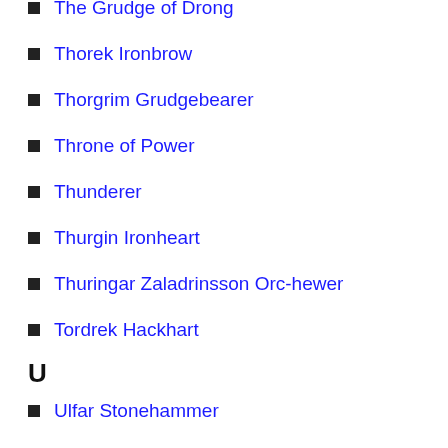The Grudge of Drong
Thorek Ironbrow
Thorgrim Grudgebearer
Throne of Power
Thunderer
Thurgin Ironheart
Thuringar Zaladrinsson Orc-hewer
Tordrek Hackhart
U
Ulfar Stonehammer
Underway
Ungrim Ironfist
V